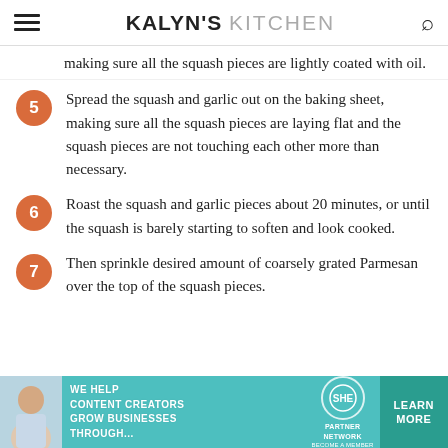KALYN'S KITCHEN
making sure all the squash pieces are lightly coated with oil.
5 Spread the squash and garlic out on the baking sheet, making sure all the squash pieces are laying flat and the squash pieces are not touching each other more than necessary.
6 Roast the squash and garlic pieces about 20 minutes, or until the squash is barely starting to soften and look cooked.
7 Then sprinkle desired amount of coarsely grated Parmesan over the top of the squash pieces.
[Figure (infographic): Advertisement banner: WE HELP CONTENT CREATORS GROW BUSINESSES THROUGH... with SHE Partner Network logo and LEARN MORE button on teal background]